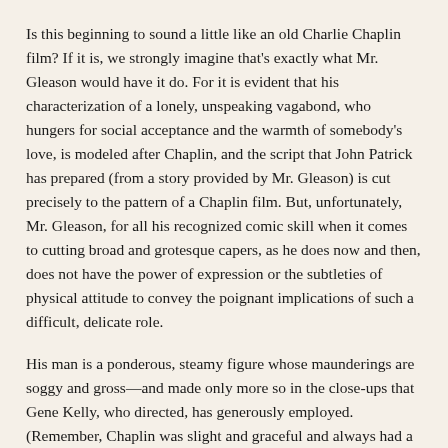Is this beginning to sound a little like an old Charlie Chaplin film? If it is, we strongly imagine that's exactly what Mr. Gleason would have it do. For it is evident that his characterization of a lonely, unspeaking vagabond, who hungers for social acceptance and the warmth of somebody's love, is modeled after Chaplin, and the script that John Patrick has prepared (from a story provided by Mr. Gleason) is cut precisely to the pattern of a Chaplin film. But, unfortunately, Mr. Gleason, for all his recognized comic skill when it comes to cutting broad and grotesque capers, as he does now and then, does not have the power of expression or the subtleties of physical attitude to convey the poignant implications of such a difficult, delicate role.
His man is a ponderous, steamy figure whose maunderings are soggy and gross—and made only more so in the close-ups that Gene Kelly, who directed, has generously employed. (Remember, Chaplin was slight and graceful and always had a dauntless, dapper air.) His pantomimic exhibitions have little variety. His ways of looking pathetic are blunt and monotonous. What's more, there is too much of him. Mr. Gleason is virtually the whole show. Katherine Kath as the woman he shelters and Diane Gardner as her little girl are rather confined in the drama of sadness. Their roles are...